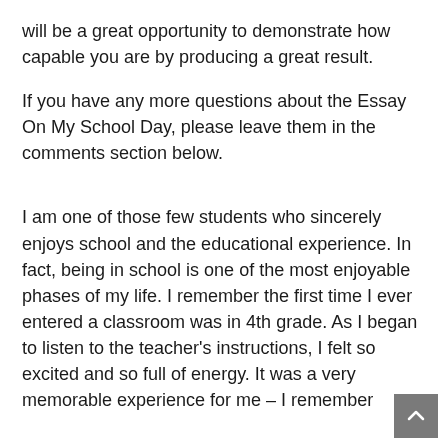will be a great opportunity to demonstrate how capable you are by producing a great result.
If you have any more questions about the Essay On My School Day, please leave them in the comments section below.
I am one of those few students who sincerely enjoys school and the educational experience. In fact, being in school is one of the most enjoyable phases of my life. I remember the first time I ever entered a classroom was in 4th grade. As I began to listen to the teacher's instructions, I felt so excited and so full of energy. It was a very memorable experience for me – I remember